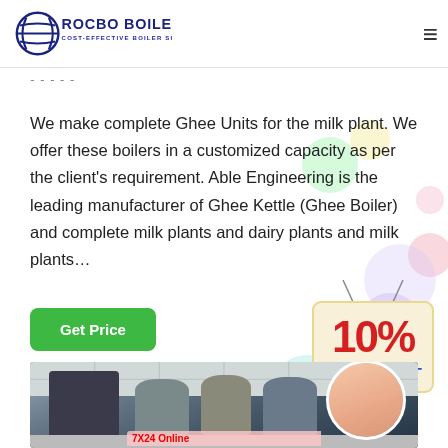ROCBO BOILER - COST-EFFECTIVE BOILER SUPPLIER
We make complete Ghee Units for the milk plant. We offer these boilers in a customized capacity as per the client's requirement. Able Engineering is the leading manufacturer of Ghee Kettle (Ghee Boiler) and complete milk plants and dairy plants and milk plants…
[Figure (illustration): Green 'Get Price' button]
[Figure (illustration): 10% DISCOUNT badge hanging sign with string]
[Figure (photo): Industrial boiler/milk plant equipment in a factory, showing multiple cylindrical tanks, control panels, and piping. A customer service agent photo overlaid at bottom right.]